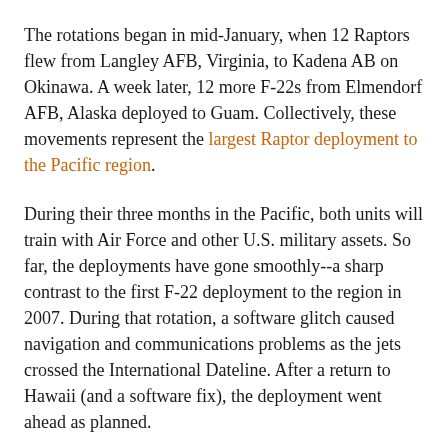The rotations began in mid-January, when 12 Raptors flew from Langley AFB, Virginia, to Kadena AB on Okinawa. A week later, 12 more F-22s from Elmendorf AFB, Alaska deployed to Guam. Collectively, these movements represent the largest Raptor deployment to the Pacific region.
During their three months in the Pacific, both units will train with Air Force and other U.S. military assets. So far, the deployments have gone smoothly--a sharp contrast to the first F-22 deployment to the region in 2007. During that rotation, a software glitch caused navigation and communications problems as the jets crossed the International Dateline. After a return to Hawaii (and a software fix), the deployment went ahead as planned.
As David Fulghum of Aviation Week observes, the latest rotation is not without its risks. While operating in the Far East, the F-22s will be subject to intel collection by Chinese and Russian assets. SIGINT-capable TU-95 Bears have flown near Guam during the past year, and China has a significant, covert collection capability on merchant vessels